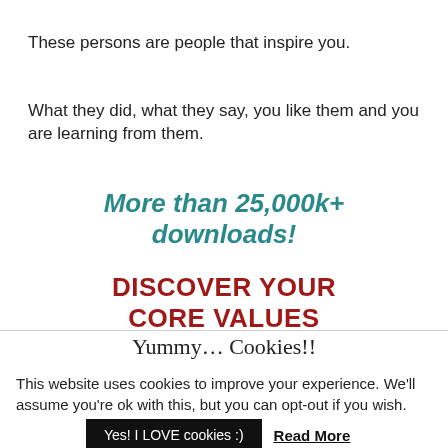These persons are people that inspire you.
What they did, what they say, you like them and you are learning from them.
More than 25,000k+ downloads!
DISCOVER YOUR CORE VALUES
Yummy… Cookies!!
This website uses cookies to improve your experience. We'll assume you're ok with this, but you can opt-out if you wish.
Yes! I LOVE cookies :)
Read More